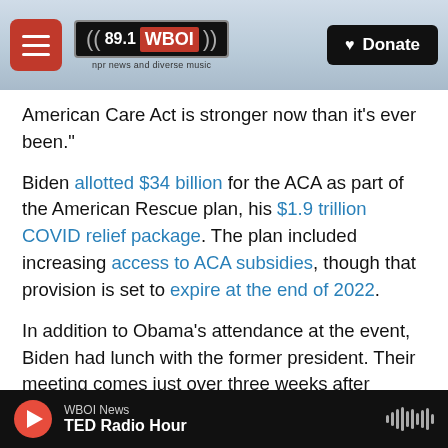89.1 WBOI — npr news and diverse music | Donate
American Care Act is stronger now than it's ever been."
Biden allotted $34 billion for the ACA as part of the American Rescue plan, his $1.9 trillion COVID relief package. The plan included increasing access to ACA subsidies, though that provision is set to expire at the end of 2022.
In addition to Obama's attendance at the event, Biden had lunch with the former president. Their meeting comes just over three weeks after Obama announced testing positive for COVID-19.
WBOI News | TED Radio Hour